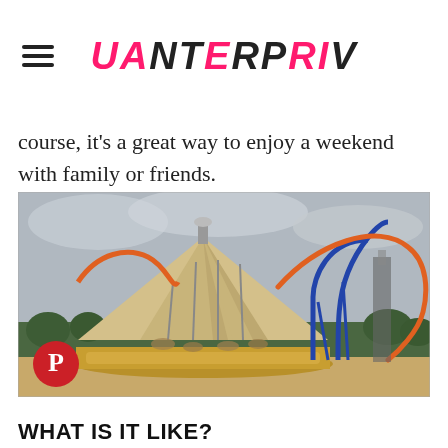UANTERPFIV
course, it's a great way to enjoy a weekend with family or friends.
[Figure (photo): Amusement park photo showing a carousel with a large tent roof and roller coasters in the background, overcast sky. Pinterest badge overlay in bottom-left.]
WHAT IS IT LIKE?
Imagica Theme Park is the perfect destination for friends and family. The park is divided